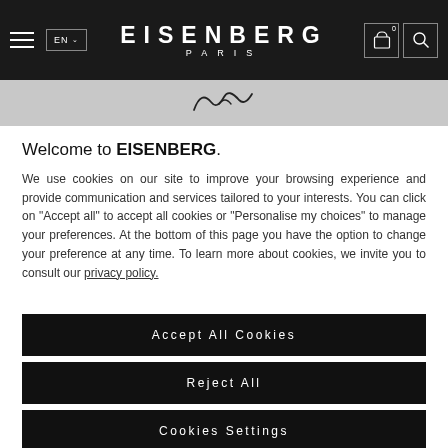EISENBERG PARIS — Navigation bar with hamburger menu, EN language selector, brand name, cart icon (0), and search icon
[Figure (logo): Eisenberg Paris signature/logo mark in grey strip]
Welcome to EISENBERG.
We use cookies on our site to improve your browsing experience and provide communication and services tailored to your interests. You can click on "Accept all" to accept all cookies or "Personalise my choices" to manage your preferences. At the bottom of this page you have the option to change your preference at any time. To learn more about cookies, we invite you to consult our privacy policy.
Accept All Cookies
Reject All
Cookies Settings